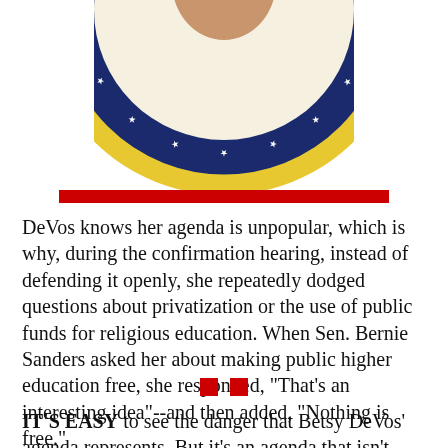[Figure (illustration): Partial view of a circular presidential seal with gold outer ring, dark navy blue ring with white stars, and cream/beige inner circle. A person's face is partially visible at the top center.]
DeVos knows her agenda is unpopular, which is why, during the confirmation hearing, instead of defending it openly, she repeatedly dodged questions about privatization or the use of public funds for religious education. When Sen. Bernie Sanders asked her about making public higher education free, she responded, "That's an interesting idea"--and then added, "Nothing is free."
IT'S EASY to see the danger that Betsy DeVos' agenda represents. But it's an agenda that isn't entirely unique to the Republicans or the Christian Right.